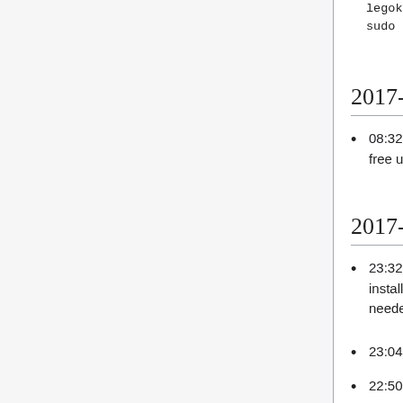legoktm@contint1001:/srv/zuul/git/medi...
sudo -u zuul rm -rf XMPReader
2017-09-02
08:32 legoktm: rm -rf /var/logs/kafka on deployment-kafka01 to free up disk space
2017-08-31
23:32 Krenair: fixed deployment-imagescaler0[12] puppet by installing a package and file manually, some puppetisation still needed - https://phabricator.wikimedia.org/T174746
23:04 Krenair: that also did deployment-cache-(upload|text)04
22:50 Krenair: fixed deployment-ms-be0[34] puppet by removing cherry-pick of